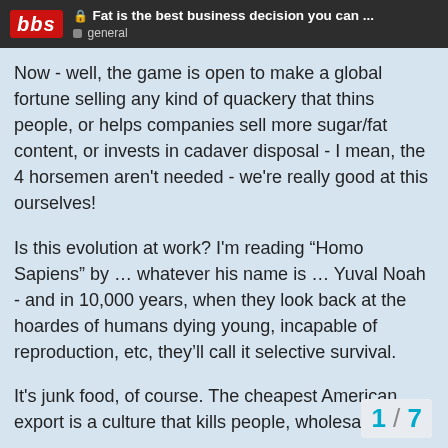Fat is the best business decision you can ... | general
Now - well, the game is open to make a global fortune selling any kind of quackery that thins people, or helps companies sell more sugar/fat content, or invests in cadaver disposal - I mean, the 4 horsemen aren't needed - we're really good at this ourselves!
Is this evolution at work? I'm reading “Homo Sapiens” by … whatever his name is … Yuval Noah - and in 10,000 years, when they look back at the hoardes of humans dying young, incapable of reproduction, etc, they’ll call it selective survival.
It's junk food, of course. The cheapest American export is a culture that kills people, wholesale.
So Imma gone get me into the illness/death by obesity business. Best way I can enjoy yacht-borne pina coladas! Normal work is just too damn hard!
1 / 7